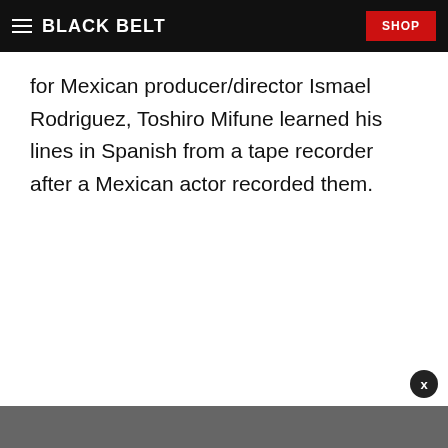BLACK BELT | SHOP
for Mexican producer/director Ismael Rodriguez, Toshiro Mifune learned his lines in Spanish from a tape recorder after a Mexican actor recorded them.